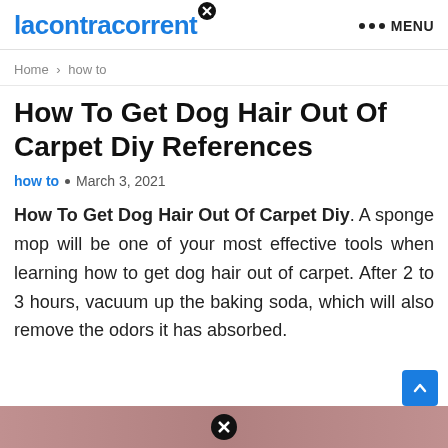lacontracorrent   ••• MENU
Home > how to
How To Get Dog Hair Out Of Carpet Diy References
how to · March 3, 2021
How To Get Dog Hair Out Of Carpet Diy. A sponge mop will be one of your most effective tools when learning how to get dog hair out of carpet. After 2 to 3 hours, vacuum up the baking soda, which will also remove the odors it has absorbed.
[Figure (photo): Partial image at bottom of page, appears to be a carpet or fabric texture in reddish-brown color]